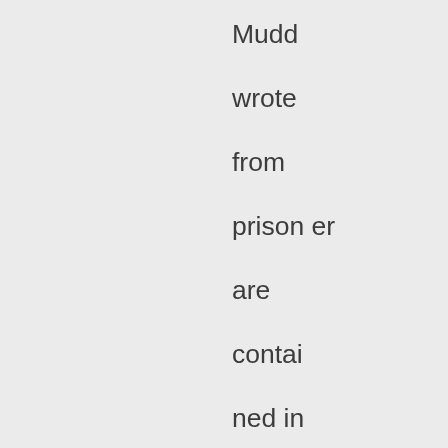Mudd wrote from prisoner are contained in Nettie's book. I have been using Bob Summers